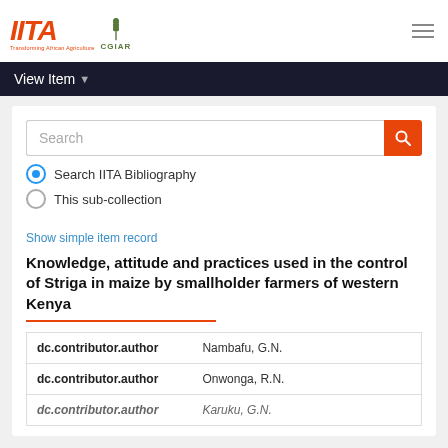[Figure (logo): IITA logo with tagline 'Transforming African Agriculture' and CGIAR logo]
View Item
Search IITA Bibliography
This sub-collection
Show simple item record
Knowledge, attitude and practices used in the control of Striga in maize by smallholder farmers of western Kenya
| Field | Value |
| --- | --- |
| dc.contributor.author | Nambafu, G.N. |
| dc.contributor.author | Onwonga, R.N. |
| dc.contributor.author | Karuku, G.N. |